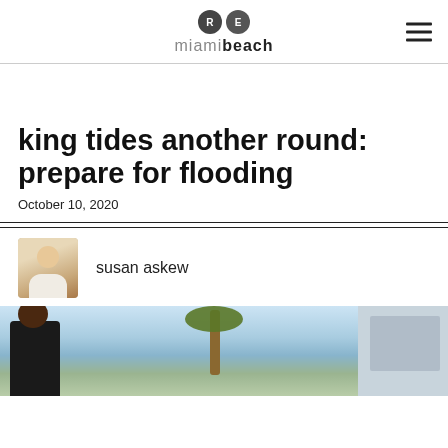RE miamibeach
king tides another round: prepare for flooding
October 10, 2020
susan askew
[Figure (photo): Outdoor street scene with person, palm tree, and utility box under blue sky]